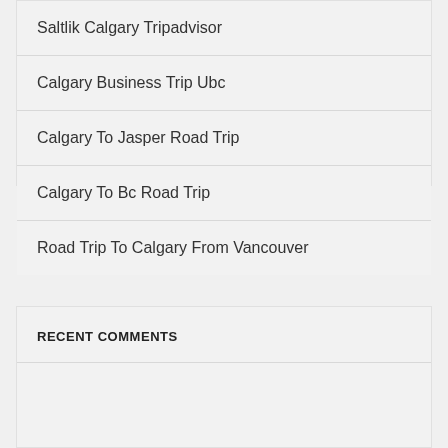Saltlik Calgary Tripadvisor
Calgary Business Trip Ubc
Calgary To Jasper Road Trip
Calgary To Bc Road Trip
Road Trip To Calgary From Vancouver
RECENT COMMENTS